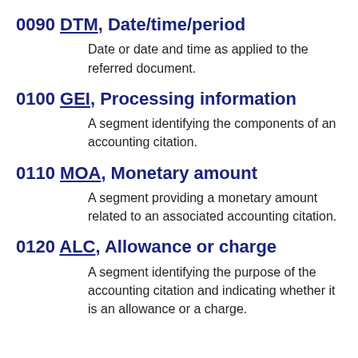0090 DTM, Date/time/period
Date or date and time as applied to the referred document.
0100 GEI, Processing information
A segment identifying the components of an accounting citation.
0110 MOA, Monetary amount
A segment providing a monetary amount related to an associated accounting citation.
0120 ALC, Allowance or charge
A segment identifying the purpose of the accounting citation and indicating whether it is an allowance or a charge.